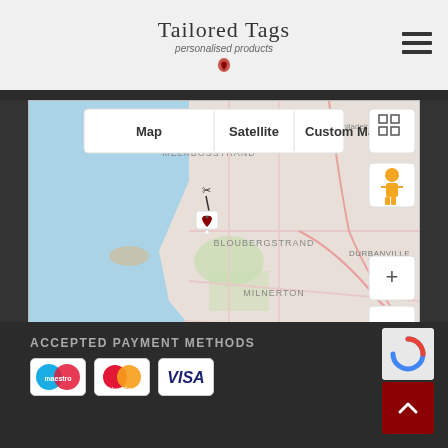Tailored Tags — personalised products
[Figure (map): Google Maps screenshot showing the Bloubergstrand and Melkbosstrand area near Cape Town, South Africa. Shows Map/Satellite/Custom Map toggle buttons, zoom controls, street-view icon, fullscreen button, and a custom heart-shaped marker pin. Map shows Atlantic Ocean coastline with areas labeled MELKBOSSTRAND, BLOUBERGSTRAND, DURBANVILLE, KRAA, MILNERTON, CENTURY CITY, BELLVILLE. Google branding and attribution: 'Keyboard shortcuts', 'Map data ©2022 AfriGIS (Pty) Ltd, Google', 'Terms of Use'.]
ACCEPTED PAYMENT METHODS
[Figure (infographic): Three payment method icons: Maestro (blue/red circles), MasterCard (overlapping red/orange circles logo), and VISA (blue italic text on white background).]